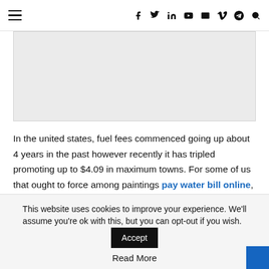Navigation bar with hamburger menu and social icons: f, twitter, in, youtube, email, V, telegram, search
[Figure (other): Gray rectangular image placeholder]
In the united states, fuel fees commenced going up about 4 years in the past however recently it has tripled promoting up to $4.09 in maximum towns. For some of us that ought to force among paintings pay water bill online, faculty, choosing up the youngsters and grocery fuel rate has grown to be a primary cost
This website uses cookies to improve your experience. We'll assume you're ok with this, but you can opt-out if you wish. Accept
Read More